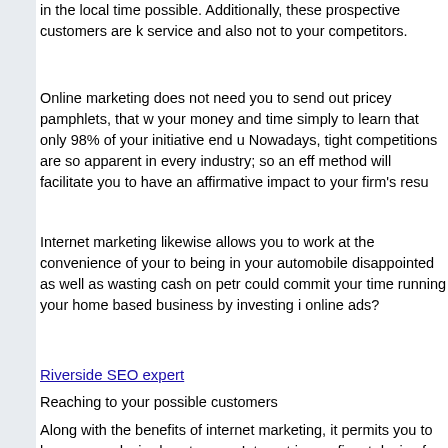in the local time possible. Additionally, these prospective customers are k service and also not to your competitors.
Online marketing does not need you to send out pricey pamphlets, that w your money and time simply to learn that only 98% of your initiative end u Nowadays, tight competitions are so apparent in every industry; so an eff method will facilitate you to have an affirmative impact to your firm's resu
Internet marketing likewise allows you to work at the convenience of your to being in your automobile disappointed as well as wasting cash on petr could commit your time running your home based business by investing i online ads?
Riverside SEO expert
Reaching to your possible customers
Along with the benefits of internet marketing, it permits you to become ex desired customers. Internet is one finest device for interaction and also re more you learn about your client, the simpler to accomplish terrific as we strategy. You can also be able to create a web site that is most appropria well as qualifications.